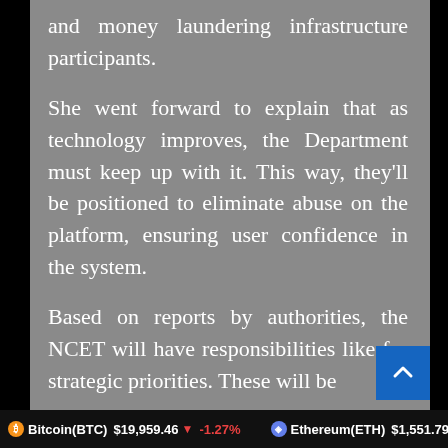and money laundering infrastructure participants.
She went forward to explain that as technology improves, the Department must keep up with it. This way, they'll be positioned to eliminate abuse on the platform, ensuring user confidence in the system.
Based on reports by authorities, the NCET will have responsibilities like for strategic priorities. These will be
Bitcoin(BTC) $19,959.46 ▼ -1.27%   Ethereum(ETH) $1,551.79 ▲